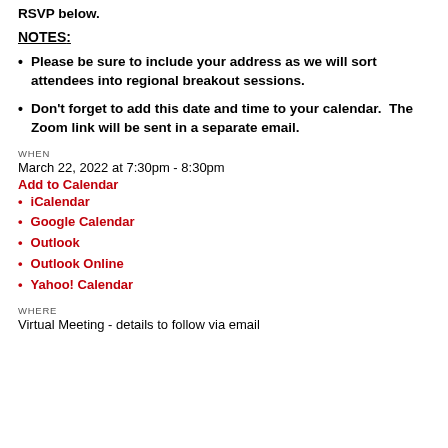RSVP below.
NOTES:
Please be sure to include your address as we will sort attendees into regional breakout sessions.
Don't forget to add this date and time to your calendar.  The Zoom link will be sent in a separate email.
WHEN
March 22, 2022 at 7:30pm - 8:30pm
Add to Calendar
iCalendar
Google Calendar
Outlook
Outlook Online
Yahoo! Calendar
WHERE
Virtual Meeting - details to follow via email